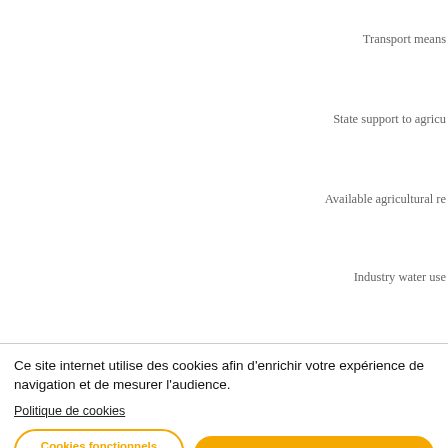Transport means
State support to agricu…
Available agricultural re…
Industry water use…
Human capital
Ce site internet utilise des cookies afin d'enrichir votre expérience de navigation et de mesurer l'audience.
Politique de cookies
Cookies fonctionnels uniquement
Accepter les cookies